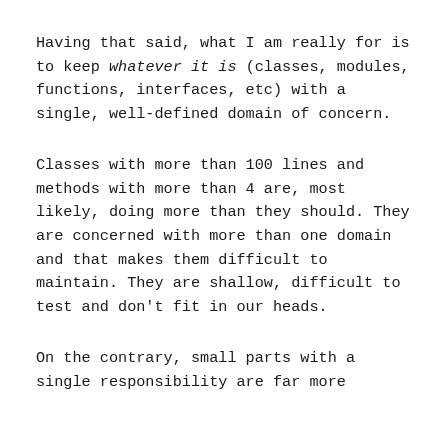Having that said, what I am really for is to keep whatever it is (classes, modules, functions, interfaces, etc) with a single, well-defined domain of concern.
Classes with more than 100 lines and methods with more than 4 are, most likely, doing more than they should. They are concerned with more than one domain and that makes them difficult to maintain. They are shallow, difficult to test and don't fit in our heads.
On the contrary, small parts with a single responsibility are far more